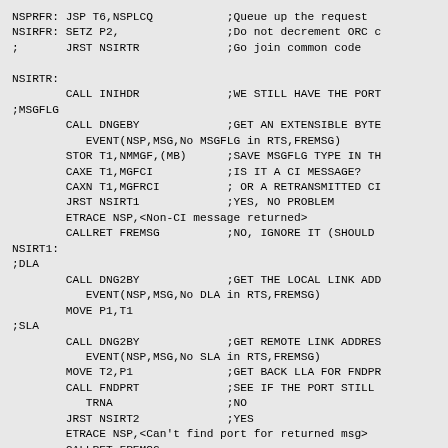NSPRFR: JSP T6,NSPLCQ           ;Queue up the request
NSIRFR: SETZ P2,                ;Do not decrement ORC c
;       JRST NSIRTR             ;Go join common code

NSIRTR:
        CALL INIHDR             ;WE STILL HAVE THE PORT
;MSGFLG
        CALL DNGEBY             ;GET AN EXTENSIBLE BYTE
           EVENT(NSP,MSG,No MSGFLG in RTS,FREMSG)
        STOR T1,NMMGF,(MB)      ;SAVE MSGFLG TYPE IN TH
        CAXE T1,MGFCI           ;IS IT A CI MESSAGE?
        CAXN T1,MGFRCI          ; OR A RETRANSMITTED CI
        JRST NSIRT1             ;YES, NO PROBLEM
        ETRACE NSP,<Non-CI message returned>
        CALLRET FREMSG          ;NO, IGNORE IT (SHOULD 
NSIRT1:
;DLA
        CALL DNG2BY             ;GET THE LOCAL LINK ADD
           EVENT(NSP,MSG,No DLA in RTS,FREMSG)
        MOVE P1,T1
;SLA
        CALL DNG2BY             ;GET REMOTE LINK ADDRES
           EVENT(NSP,MSG,No SLA in RTS,FREMSG)
        MOVE T2,P1              ;GET BACK LLA FOR FNDPR
        CALL FNDPRT             ;SEE IF THE PORT STILL 
           TRNA                 ;NO
        JRST NSIRT2             ;YES
        ETRACE NSP,<Can't find port for returned msg>
        CALLRET FREMSG